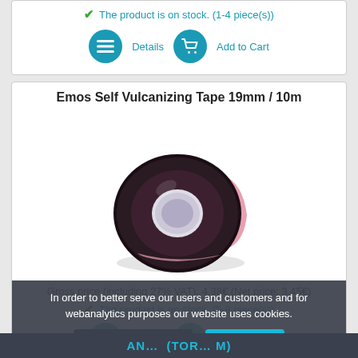The product is on stock. (1-4 piece(s))
[Figure (screenshot): Details and Add to Cart buttons with circular teal icons]
Emos Self Vulcanizing Tape 19mm / 10m
[Figure (photo): Photo of Emos self vulcanizing tape roll, dark brown/maroon color with pink liner, rolled up]
Gross price (including 27% VAT): 4.38€ (Net price: 3.45€)
The product is on stock. (5-9 piece(s))
[Figure (screenshot): Partially visible Details and Add to Cart buttons]
In order to better serve our users and customers and for webanalytics purposes our website uses cookies.
More information  Accept
AN... (TOR... M)